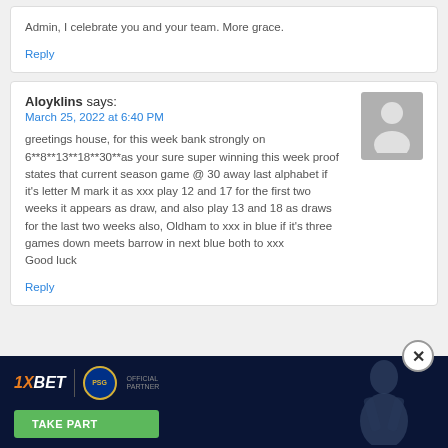Admin, I celebrate you and your team. More grace.
Reply
Aloyklins says:
March 25, 2022 at 6:40 PM
greetings house, for this week bank strongly on 6**8**13**18**30**as your sure super winning this week proof states that current season game @ 30 away last alphabet if it's letter M mark it as xxx play 12 and 17 for the first two weeks it appears as draw, and also play 13 and 18 as draws for the last two weeks also, Oldham to xxx in blue if it's three games down meets barrow in next blue both to xxx
Good luck
Reply
[Figure (infographic): 1XBET advertising banner with PSG logo, 'TAKE PART' button, and a silhouette of a person on dark blue background]